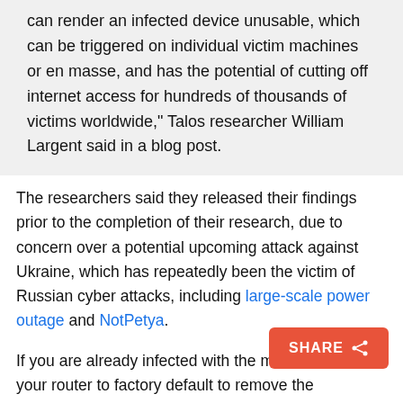can render an infected device unusable, which can be triggered on individual victim machines or en masse, and has the potential of cutting off internet access for hundreds of thousands of victims worldwide," Talos researcher William Largent said in a blog post.
The researchers said they released their findings prior to the completion of their research, due to concern over a potential upcoming attack against Ukraine, which has repeatedly been the victim of Russian cyber attacks, including large-scale power outage and NotPetya.
If you are already infected with the malware, reset your router to factory default to remove the potentially destructive malware and update the firmware device as soon as possible.